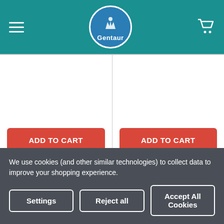Gentaur - navigation header with logo and cart icon
High titer Large, 200 µL (> 1 x 10^8 IFU/mL)| 568-S502HL
101Bio
$2,496.00
High titer, 100 µL (> 1 x 10^8 IFU/mL)| 568-S501H
101Bio
$1,974.00
We use cookies (and other similar technologies) to collect data to improve your shopping experience.
Settings
Reject all
Accept All Cookies